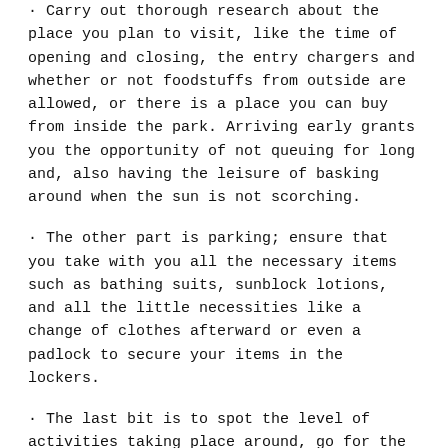· Carry out thorough research about the place you plan to visit, like the time of opening and closing, the entry chargers and whether or not foodstuffs from outside are allowed, or there is a place you can buy from inside the park. Arriving early grants you the opportunity of not queuing for long and, also having the leisure of basking around when the sun is not scorching.
· The other part is parking; ensure that you take with you all the necessary items such as bathing suits, sunblock lotions, and all the little necessities like a change of clothes afterward or even a padlock to secure your items in the lockers.
· The last bit is to spot the level of activities taking place around, go for the less crowded ones provided you are comfortable with them.
Conclusion
A water park visit can be a nice family outing activity since everyone regardless of their age WATER PARK IN DELHI can find a way to relax and enjoy. While having fun, it is advisable always to keep hydrated mostly when these parks are outside. So, what are you thinking of? Just